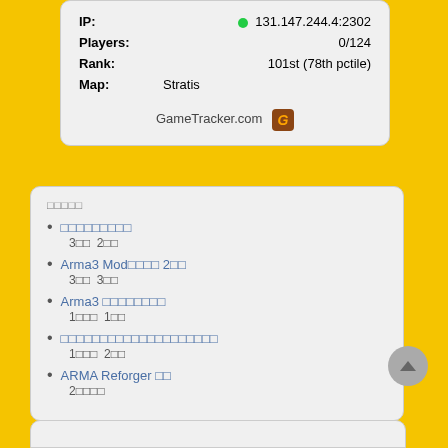| IP: | ● 131.147.244.4:2302 |
| Players: | 0/124 |
| Rank: | 101st (78th pctile) |
| Map: | Stratis |
GameTracker.com
□□□□□
□□□□□□□□□
3□□  2□□
Arma3 Mod□□□□ 2□□
3□□  3□□
Arma3 □□□□□□□□
1□□□  1□□
□□□□□□□□□□□□□□□□□□□□
1□□□  2□□
ARMA Reforger □□
2□□□□